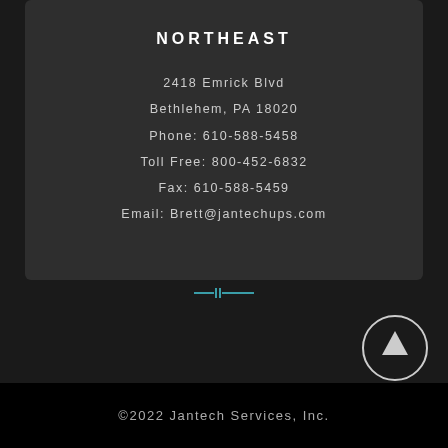NORTHEAST
2418 Emrick Blvd
Bethlehem, PA 18020
Phone: 610-588-5458
Toll Free: 800-452-6832
Fax: 610-588-5459
Email: Brett@jantechups.com
[Figure (illustration): Teal colored decorative horizontal divider symbol resembling a resistor or circuit element]
[Figure (illustration): White circle with upward-pointing arrow inside, a back-to-top button]
©2022 Jantech Services, Inc.